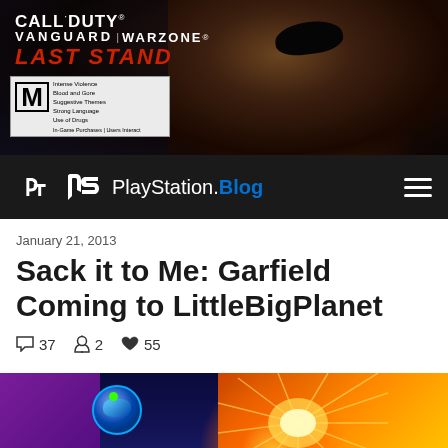[Figure (photo): Call of Duty Vanguard & Warzone: Last Stand banner advertisement showing a grizzled character with an eye patch against a dark urban background with fire. ESRB M rating box in bottom left.]
[Figure (logo): PlayStation Blog navigation bar with PlayStation logo and 'PlayStation.Blog' text on dark background with hamburger menu icon on right]
January 21, 2013
Sack it to Me: Garfield Coming to LittleBigPlanet
37  2  55
[Figure (screenshot): Bottom teaser image showing a LittleBigPlanet character with a blue helmet with green dot and an explosion/firework burst in the background with purple and orange colors]